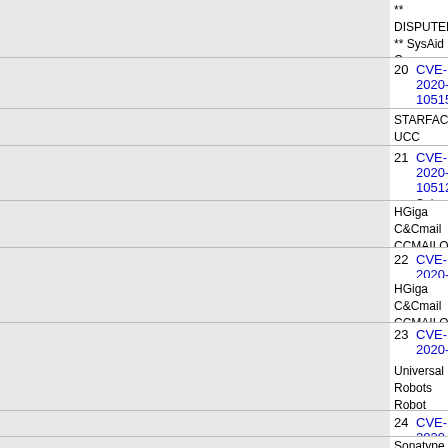** DISPUTED ** SysAid On-Premise 20.1.11, by default, access to upload files, which can be used to execute co
20 CVE-2020-10515 427 Exec Code
STARFACE UCC Client before 6.7.1.204 on Windows al
21 CVE-2020-10512 89 Exec Code Sql
HGiga C&Cmail CCMAILQ before olln-calendar-6.0-100. attackers to injecting SQL commands in the URL parame
22 CVE-2020-10511 78
HGiga C&Cmail CCMAILQ before olln-base-6.0-418.i386 these flaws to access unauthorized functionality via a cra
23 CVE-2020-10265 306
Universal Robots Robot Controllers Version CB2 SW Ve called DashBoard server at port 29999 that allows for co server is not protected by any kind of authentication or a
24 CVE-2020-10204 20 Exec Code
Sonatype Nexus Repository before 3.21.2 allows Remot
25 CVE-2020-10199 917